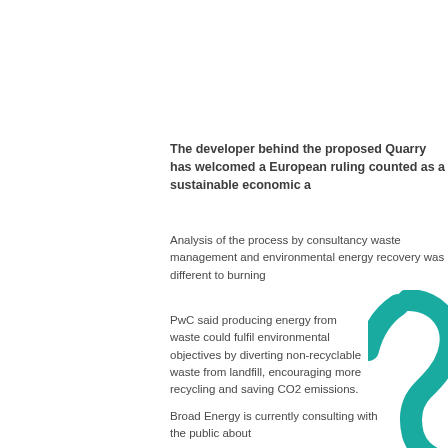The developer behind the proposed Quarry has welcomed a European ruling counted as a sustainable economic a
Analysis of the process by consultancy waste management and environmental energy recovery was different to burning
PwC said producing energy from waste could fulfil environmental objectives by diverting non-recyclable waste from landfill, encouraging more recycling and saving CO2 emissions.
[Figure (logo): Teal/green circular logo mark, partial view on right side of page]
Broad Energy is currently consulting with the public about